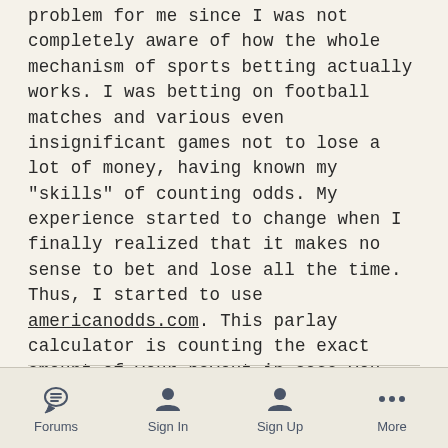problem for me since I was not completely aware of how the whole mechanism of sports betting actually works. I was betting on football matches and various even insignificant games not to lose a lot of money, having known my "skills" of counting odds. My experience started to change when I finally realized that it makes no sense to bet and lose all the time. Thus, I started to use americanodds.com. This parlay calculator is counting the exact amount of your payout in case you win. It's been really useful. At least, I started to think a lot more about my payout and how much money I can get if I bet.
Forums  Sign In  Sign Up  More